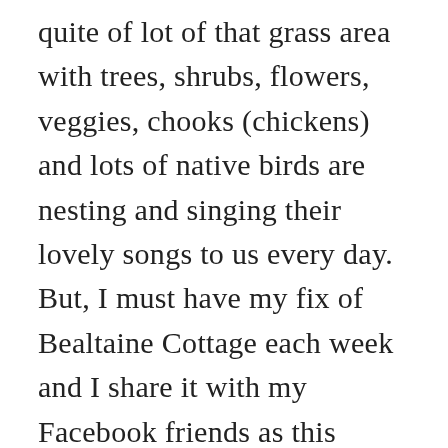quite of lot of that grass area with trees, shrubs, flowers, veggies, chooks (chickens) and lots of native birds are nesting and singing their lovely songs to us every day. But, I must have my fix of Bealtaine Cottage each week and I share it with my Facebook friends as this should go out into the world. Thank you again Colette.